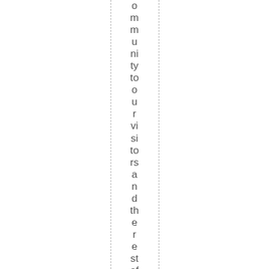ommunity to our visitors and the rest of the